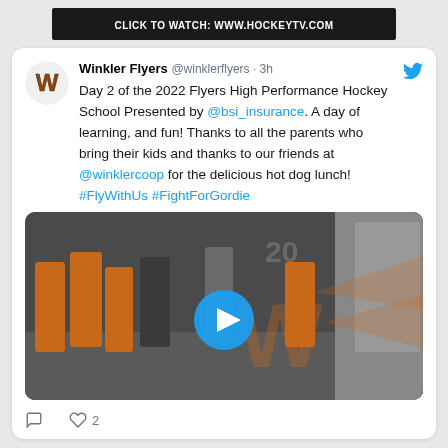CLICK TO WATCH: WWW.HOCKEYTV.COM
Winkler Flyers @winklerflyers · 3h
Day 2 of the 2022 Flyers High Performance Hockey School Presented by @bsi_insurance. A day of learning, and fun! Thanks to all the parents who bring their kids and thanks to our friends at @winklercoop for the delicious hot dog lunch! #FlyWithUs #FightForGordie
[Figure (photo): Video thumbnail showing hockey players in orange jerseys in a corridor with Winkler Flyers logo overlay and a play button]
❤ 2